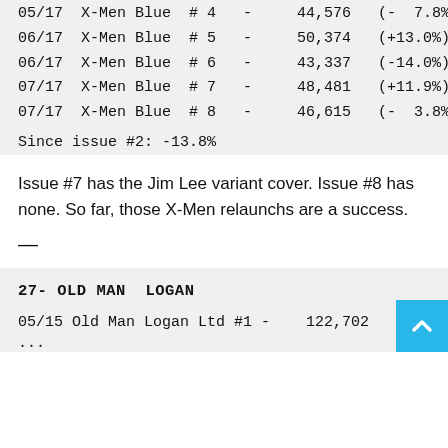| 05/17 | X-Men Blue | # 4 | - | 44,576 | (-  7.8% |
| 06/17 | X-Men Blue | # 5 | - | 50,374 | (+13.0%) |
| 06/17 | X-Men Blue | # 6 | - | 43,337 | (-14.0%) |
| 07/17 | X-Men Blue | # 7 | - | 48,481 | (+11.9%) |
| 07/17 | X-Men Blue | # 8 | - | 46,615 | (-  3.8% |
Since issue #2: -13.8%
Issue #7 has the Jim Lee variant cover. Issue #8 has none. So far, those X-Men relaunchs are a success.
—
27- OLD MAN LOGAN
| 05/15 | Old Man Logan Ltd #1 | - | 122,702 |